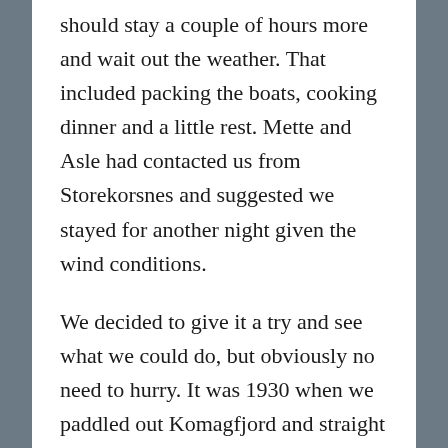should stay a couple of hours more and wait out the weather. That included packing the boats, cooking dinner and a little rest. Mette and Asle had contacted us from Storekorsnes and suggested we stayed for another night given the wind conditions.
We decided to give it a try and see what we could do, but obviously no need to hurry. It was 1930 when we paddled out Komagfjord and straight into headwinds. We had slowish progress and some waves to handle across to Storekorsnes.
Looking from Storekorsnes across “Verdenshavet”